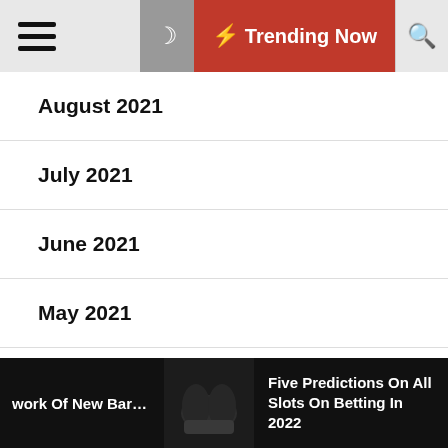Trending Now
August 2021
July 2021
June 2021
May 2021
April 2021
March 2021
February 2021
work Of New Barracat | Five Predictions On All Slots On Betting In 2022